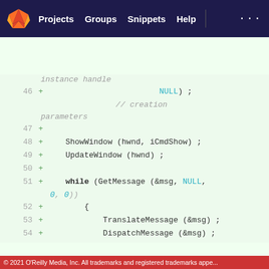Projects  Groups  Snippets  Help
[Figure (screenshot): GitLab-style code diff viewer showing lines 46-59 of C/Windows code with added lines marked with +]
© 2021 O'Reilly Media, Inc. All trademarks and registered trademarks appe...